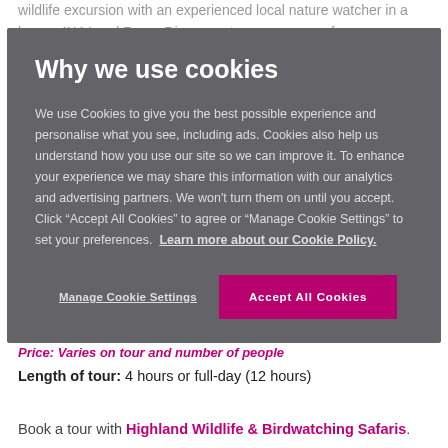wildlife excursion with an experienced local nature watcher in a luxury 4X4 Land Rover Discovery to see a range of
Why we use cookies
We use Cookies to give you the best possible experience and personalise what you see, including ads. Cookies also help us understand how you use our site so we can improve it. To enhance your experience we may share this information with our analytics and advertising partners. We won't turn them on until you accept. Click “Accept All Cookies” to agree or “Manage Cookie Settings” to set your preferences.  Learn more about our Cookie Policy.
Manage Cookie Settings
Accept All Cookies
Price: Varies on tour and number of people
Length of tour: 4 hours or full-day (12 hours)
Book a tour with Highland Wildlife & Birdwatching Safaris.